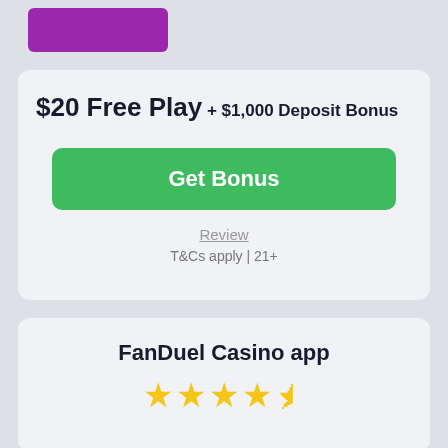[Figure (other): Purple button/logo element at top left]
$20 Free Play + $1,000 Deposit Bonus
Get Bonus
Review
T&Cs apply | 21+
FanDuel Casino app
★★★★½